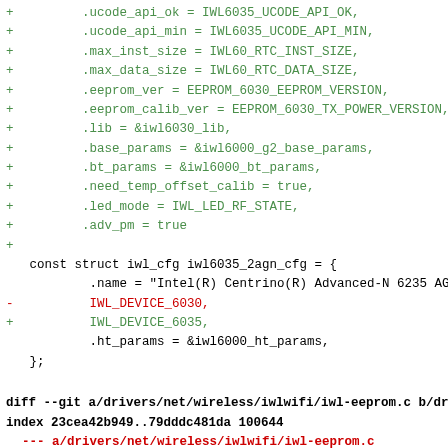Code diff showing iwl6035 configuration fields and iwl6035_2agn_cfg struct, followed by diff --git header for iwl-eeprom.c